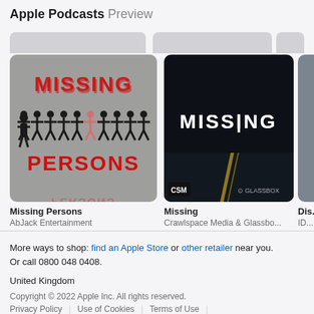Apple Podcasts Preview
[Figure (screenshot): Podcast artwork for 'Missing Persons' by AbJack Entertainment: gray background with red 'MISSING' text at top, row of black human figures with one highlighted in pink, red 'PERSONS' text at bottom]
Missing Persons
AbJack Entertainment
[Figure (screenshot): Podcast artwork for 'Missing' by Crawlspace Media & Glassbox: dark background with illuminated 'MISSING' text, road markings visible, CSM and Glassbox logos in corners]
Missing
Crawlspace Media & Glassbo...
Dis...
ID...
More ways to shop: find an Apple Store or other retailer near you.
Or call 0800 048 0408.
United Kingdom
Copyright © 2022 Apple Inc. All rights reserved.
Privacy Policy | Use of Cookies | Terms of Use |